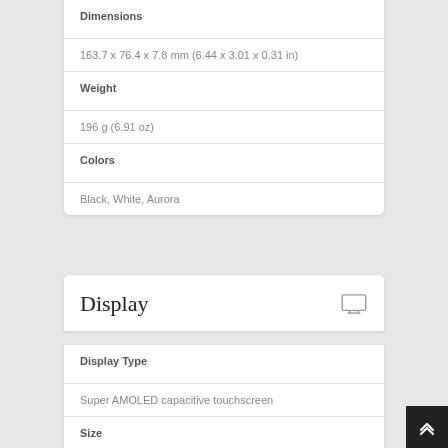Dimensions
163.7 x 76.4 x 7.8 mm (6.44 x 3.01 x 0.31 in)
Weight
196 g (6.91 oz)
Colors
Black, White, Aurora
Display
Display Type
Super AMOLED capacitive touchscreen
Size